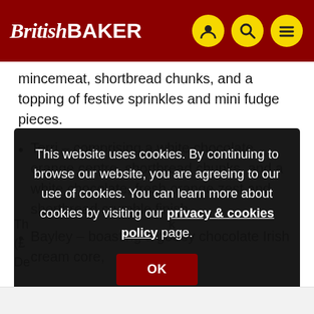British BAKER
mincemeat, shortbread chunks, and a topping of festive sprinkles and mini fudge pieces.
Terri – comprising a white chocolate orange centre, shortbread chunks, and a white chocolate, fresh orange zest and shortbread crumble finish.
Bayley – boasting a gooey chocolate Irish cream core,
Th (£ De
This website uses cookies. By continuing to browse our website, you are agreeing to our use of cookies. You can learn more about cookies by visiting our privacy & cookies policy page.